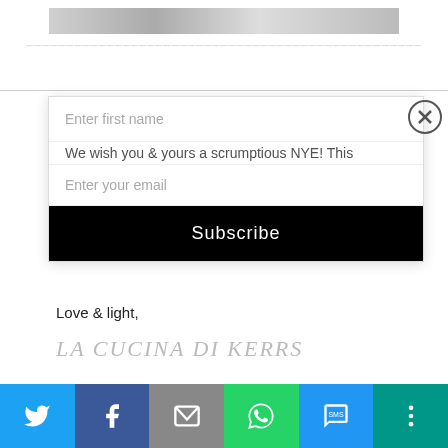[Figure (screenshot): Top portion of a webpage with a partially visible image at the top]
Enter first name
We wish you & yours a scrumptious NYE! This
Enter your email
Subscribe
Love & light,
LA CUCINA DI KERRS
SHARE THIS:
This website uses cookies to improve your experience. We'll assume you're ok with this, but you can opt-out
[Figure (infographic): Bottom social sharing bar with Twitter, Facebook, Email, WhatsApp, SMS, and More buttons]